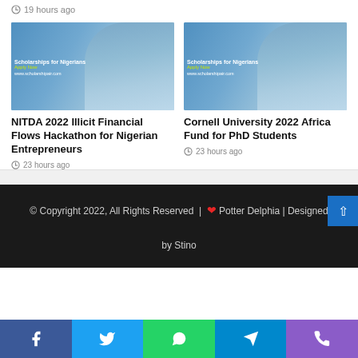19 hours ago
[Figure (photo): Scholarship promotional image with smiling woman, text overlay: Scholarships for Nigerians, Apply Now, www.scholarshipair.com]
NITDA 2022 Illicit Financial Flows Hackathon for Nigerian Entrepreneurs
23 hours ago
[Figure (photo): Scholarship promotional image with smiling woman, text overlay: Scholarships for Nigerians, Apply Now, www.scholarshipair.com]
Cornell University 2022 Africa Fund for PhD Students
23 hours ago
© Copyright 2022, All Rights Reserved | ❤ Potter Delphia | Designed by Stino